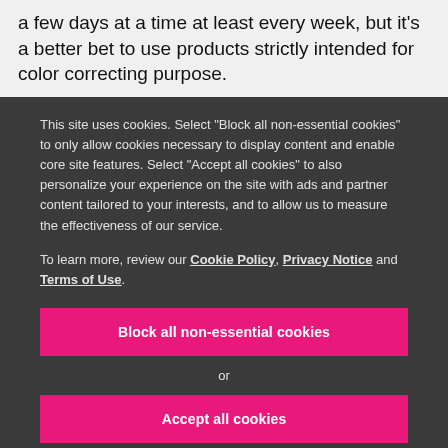a few days at a time at least every week, but it's a better bet to use products strictly intended for color correcting purpose.
This site uses cookies. Select "Block all non-essential cookies" to only allow cookies necessary to display content and enable core site features. Select "Accept all cookies" to also personalize your experience on the site with ads and partner content tailored to your interests, and to allow us to measure the effectiveness of our service.
To learn more, review our Cookie Policy, Privacy Notice and Terms of Use.
Block all non-essential cookies
or
Accept all cookies